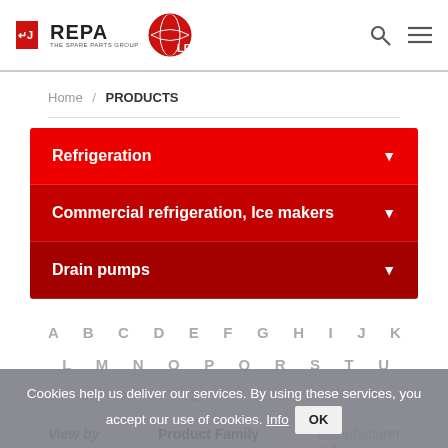REPA The Spare Parts Group — LF logo, search and menu icons
Home / PRODUCTS
Refrigeration
Commercial refrigeration, Ice makers
Drain pumps
A B C D E F G H I J K L M N O P Q R S T U V W X Y Z
View by   Product Family   Manufacturer index
Cookies help us deliver our services. By using these services, you accept our use of cookies. Info OK